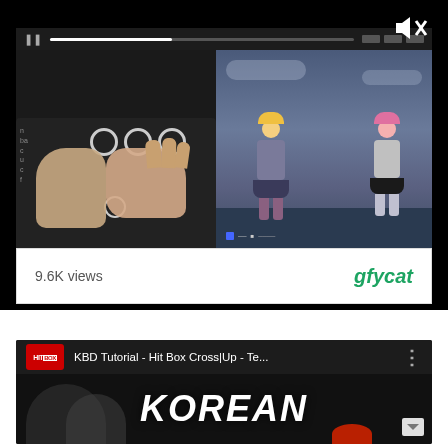[Figure (screenshot): Embedded GIF player showing split-screen: left side shows hands on a Hit Box arcade controller with circular buttons, right side shows two anime-style characters from a fighting game facing each other against a dramatic sky background. A mute button icon is visible in the top-right corner. Below is a white info bar showing '9.6K views' on the left and the 'gfycat' logo in green italic on the right.]
9.6K views
[Figure (screenshot): YouTube video thumbnail card showing 'KBD Tutorial - Hit Box Cross|Up - Te...' with a Hit Box logo icon on the left. The thumbnail shows large white bold italic text 'KOREAN' on a dark background with arcade controller buttons visible. A three-dot menu icon appears on the right.]